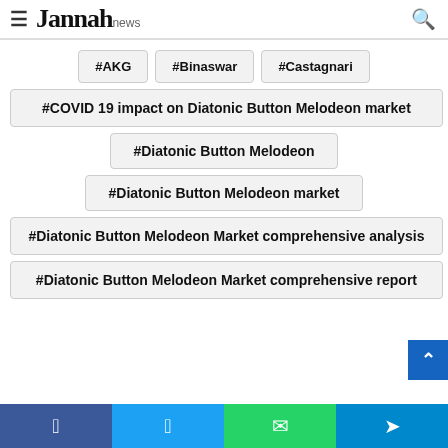Jannah news
#AKG
#Binaswar
#Castagnari
#COVID 19 impact on Diatonic Button Melodeon market
#Diatonic Button Melodeon
#Diatonic Button Melodeon market
#Diatonic Button Melodeon Market comprehensive analysis
#Diatonic Button Melodeon Market comprehensive report